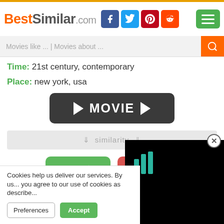BestSimilar.com
Movies like ... | Movies about ...
Time: 21st century, contemporary
Place: new york, usa
[Figure (other): Dark rounded button with play arrows and the word MOVIE]
⇓ similarity ⇓
[Figure (other): Yes (thumbs up) green button and No (thumbs down) red button]
35%
Cookies help us deliver our services. By us... you agree to our use of cookies as describe...
Preferences  Accept